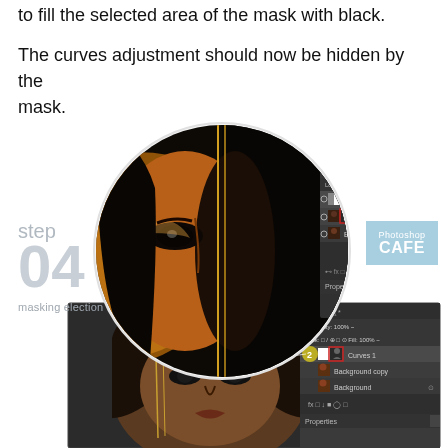to fill the selected area of the mask with black.
The curves adjustment should now be hidden by the mask.
[Figure (screenshot): Photoshop tutorial step 04 illustration showing a zoomed-in close-up of a woman's face with dramatic makeup overlaid on a Photoshop layers panel, and below a full Photoshop workspace screenshot showing the woman's face with the Curves adjustment layer mask applied. Step labeled 'step 04 masking election' with Photoshop CAFE logo. Numbered callouts 1 and 2 indicate the layer mask thumbnails in the layers panel.]